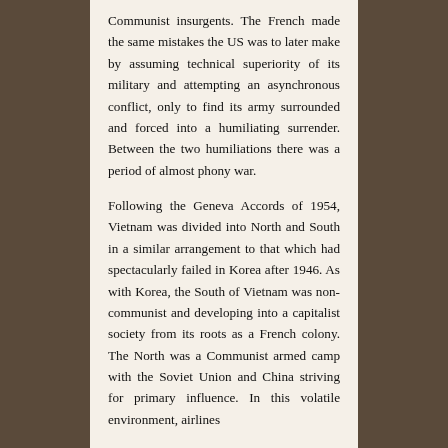Communist insurgents. The French made the same mistakes the US was to later make by assuming technical superiority of its military and attempting an asynchronous conflict, only to find its army surrounded and forced into a humiliating surrender. Between the two humiliations there was a period of almost phony war.
Following the Geneva Accords of 1954, Vietnam was divided into North and South in a similar arrangement to that which had spectacularly failed in Korea after 1946. As with Korea, the South of Vietnam was non-communist and developing into a capitalist society from its roots as a French colony. The North was a Communist armed camp with the Soviet Union and China striving for primary influence. In this volatile environment, airlines